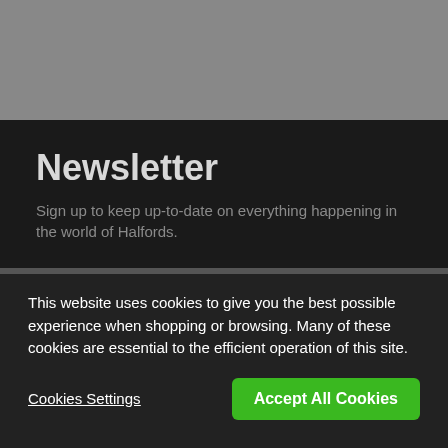Newsletter
Sign up to keep up-to-date on everything happening in the world of Halfords.
Enter your email address
Sign Up
This website uses cookies to give you the best possible experience when shopping or browsing. Many of these cookies are essential to the efficient operation of this site.
Cookies Settings
Accept All Cookies